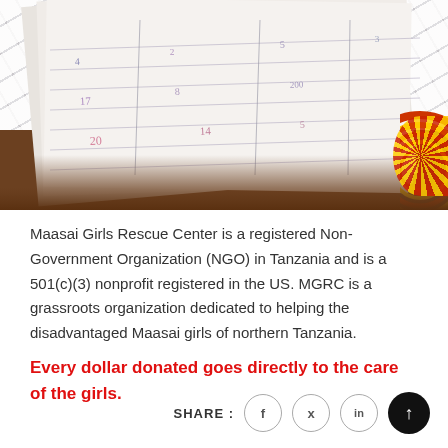[Figure (photo): A photo of handwritten paper documents or forms laid out on a brown wooden table, shot at an angle. The papers appear to have handwritten text and numbers. On the right edge, a circular decorative element with red and yellow/gold colors is partially visible.]
Maasai Girls Rescue Center is a registered Non-Government Organization (NGO) in Tanzania and is a 501(c)(3) nonprofit registered in the US. MGRC is a grassroots organization dedicated to helping the disadvantaged Maasai girls of northern Tanzania.
Every dollar donated goes directly to the care of the girls.